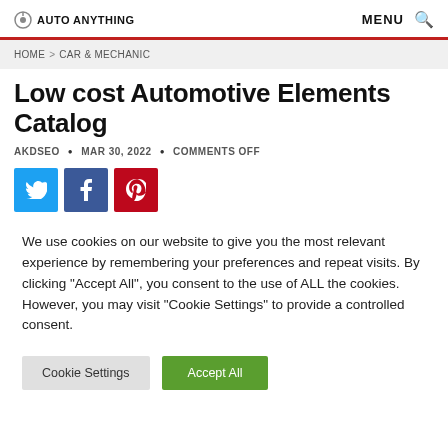AUTO ANYTHING  MENU
HOME > CAR & MECHANIC
Low cost Automotive Elements Catalog
AKDSEO • MAR 30, 2022 • COMMENTS OFF
[Figure (other): Social share buttons: Twitter (blue), Facebook (dark blue), Pinterest (red)]
We use cookies on our website to give you the most relevant experience by remembering your preferences and repeat visits. By clicking "Accept All", you consent to the use of ALL the cookies. However, you may visit "Cookie Settings" to provide a controlled consent.
Cookie Settings  Accept All